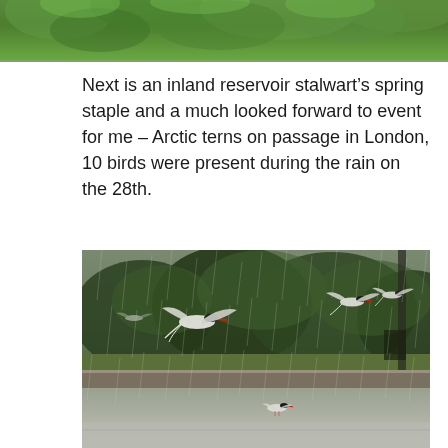[Figure (photo): Top portion of a photo showing green leafy tree foliage, cropped at the bottom edge of the frame.]
Next is an inland reservoir stalwart’s spring staple and a much looked forward to event for me – Arctic terns on passage in London, 10 birds were present during the rain on the 28th.
[Figure (photo): Photo of Arctic terns in flight during heavy rain at a London inland reservoir, with green trees and a stone wall visible in the background.]